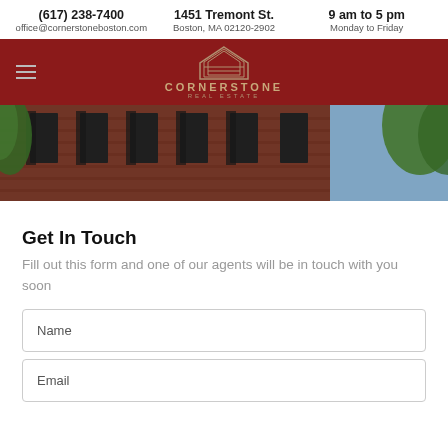(617) 238-7400 | office@cornerstoneboston.com | 1451 Tremont St. | Boston, MA 02120-2902 | 9 am to 5 pm | Monday to Friday
[Figure (logo): Cornerstone Real Estate logo with building icon on dark red navigation bar with hamburger menu]
[Figure (photo): Photo of brick building exterior with trees and blue sky]
Get In Touch
Fill out this form and one of our agents will be in touch with you soon
Name
Email